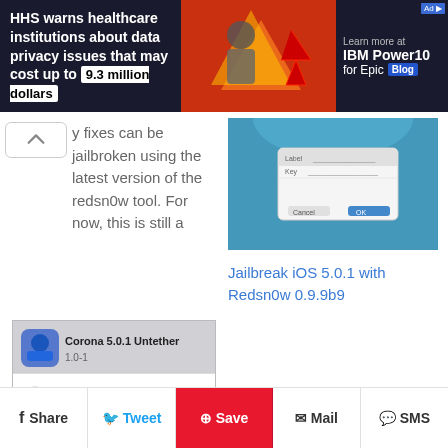[Figure (infographic): Ad banner: HHS warns healthcare institutions about data privacy issues that may cost up to 9.3 million dollars. IBM Power10 for Epic Blog ad on the right.]
y fixes can be jailbroken using the latest version of the redsn0w tool. For now, this is still a
[Figure (screenshot): Screenshot of iOS jailbreak dialog with Jailbreak iOS 5.0.1 with Redsn0w 0.9.9b9 interface]
Jailbreak iOS 5.0.1 with Redsn0w 0.9.9b9
[Figure (screenshot): Screenshot of Corona 5.0.1 Untether package in Cydia showing Change Package Settings and Author: Chronic-Dev Team]
Untether an Existing Tethered iOS 5.0.1 Jailbreak with Corona
Share   Tweet   Save   Mail   SMS